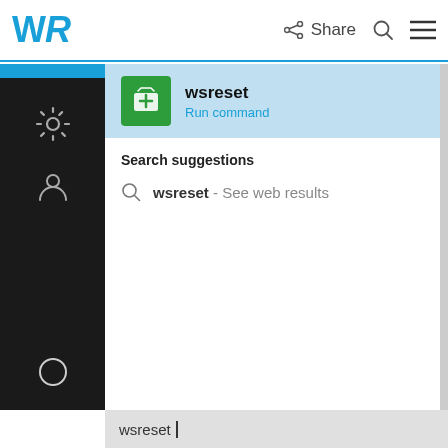[Figure (screenshot): WR logo in blue at top left of navigation bar]
Share
[Figure (screenshot): Windows 10 Start Menu search results showing wsreset Run command and Search suggestions with wsreset - See web results, and wsreset typed in search bar at bottom]